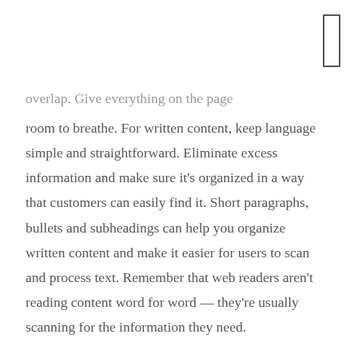overlap. Give everything on the page room to breathe. For written content, keep language simple and straightforward. Eliminate excess information and make sure it's organized in a way that customers can easily find it. Short paragraphs, bullets and subheadings can help you organize written content and make it easier for users to scan and process text. Remember that web readers aren't reading content word for word — they're usually scanning for the information they need.